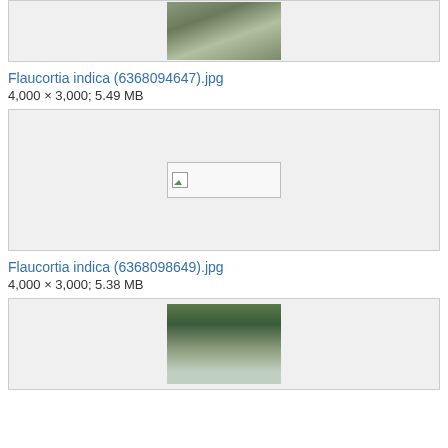[Figure (photo): Partial photo of Flaucortia indica tree bark/branches at top of page]
Flaucortia indica (6368094647).jpg
4,000 × 3,000; 5.49 MB
[Figure (photo): Broken/missing image placeholder for Flaucortia indica (6368098649).jpg]
Flaucortia indica (6368098649).jpg
4,000 × 3,000; 5.38 MB
[Figure (photo): Partial photo of Flaucortia indica tree branches with bokeh background at bottom of page]